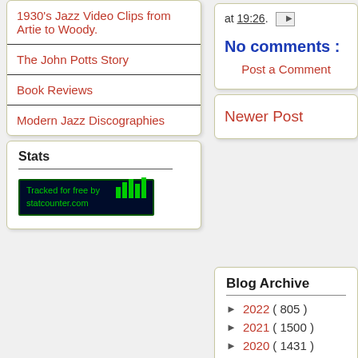1930's Jazz Video Clips from Artie to Woody.
The John Potts Story
Book Reviews
Modern Jazz Discographies
Stats
[Figure (logo): StatCounter: Tracked for free by statcounter.com badge with green bar chart on dark background]
at 19:26.
No comments :
Post a Comment
Newer Post
Blog Archive
► 2022 ( 805 )
► 2021 ( 1500 )
► 2020 ( 1431 )